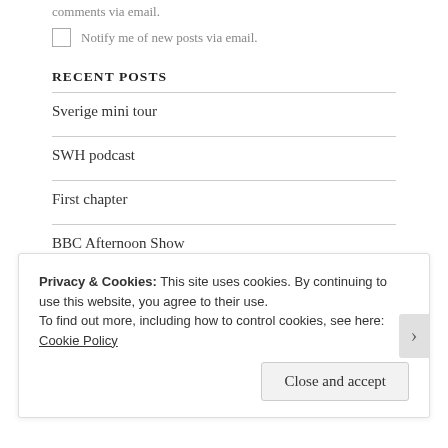comments via email.
Notify me of new posts via email.
RECENT POSTS
Sverige mini tour
SWH podcast
First chapter
BBC Afternoon Show
Other epigraphs
EMAIL SUBSCRIPTION
Privacy & Cookies: This site uses cookies. By continuing to use this website, you agree to their use.
To find out more, including how to control cookies, see here: Cookie Policy
Close and accept